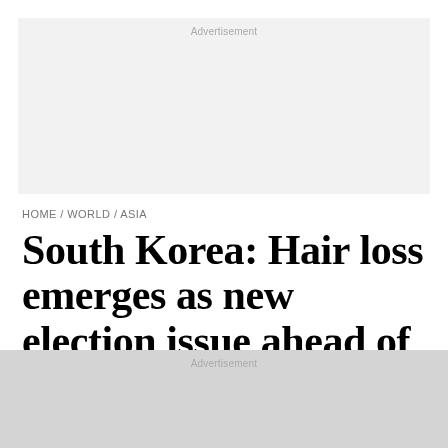[Figure (other): Advertisement banner placeholder (light gray background)]
HOME / WORLD / ASIA
South Korea: Hair loss emerges as new election issue ahead of March presidential vote
[Figure (other): Advertisement banner placeholder (light gray background)]